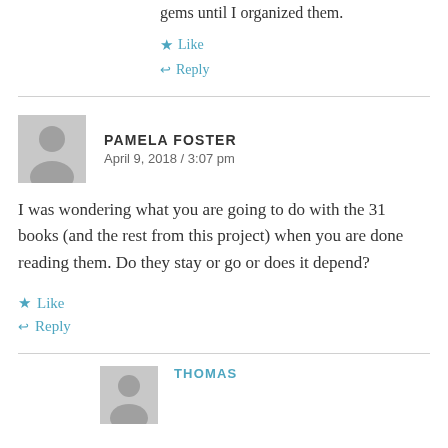gems until I organized them.
Like
Reply
PAMELA FOSTER
April 9, 2018 / 3:07 pm
I was wondering what you are going to do with the 31 books (and the rest from this project) when you are done reading them. Do they stay or go or does it depend?
Like
Reply
THOMAS